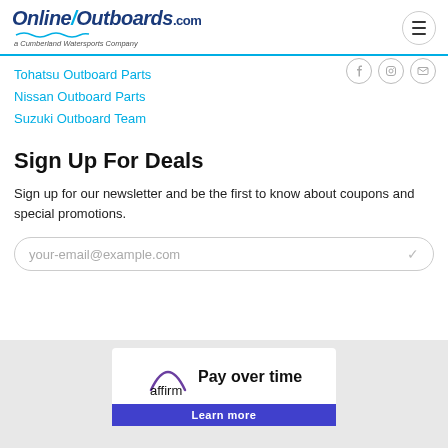OnlineOutboards.com — a Cumberland Watersports Company
Tohatsu Outboard Parts
Nissan Outboard Parts
Suzuki Outboard Team
Sign Up For Deals
Sign up for our newsletter and be the first to know about coupons and special promotions.
your-email@example.com
[Figure (infographic): Affirm Pay over time promotional banner with Learn more button]